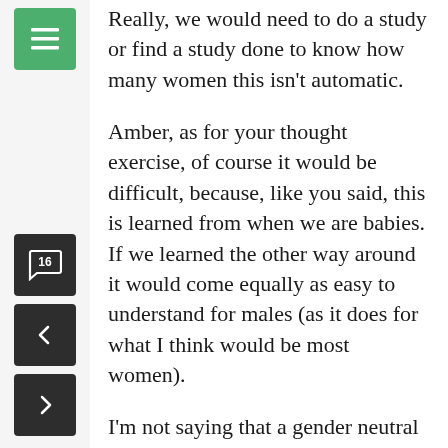Really, we would need to do a study or find a study done to know how many women this isn't automatic.
Amber, as for your thought exercise, of course it would be difficult, because, like you said, this is learned from when we are babies. If we learned the other way around it would come equally as easy to understand for males (as it does for what I think would be most women).
I'm not saying that a gender neutral language wouldn't be nice, it would be. But I disagree with the